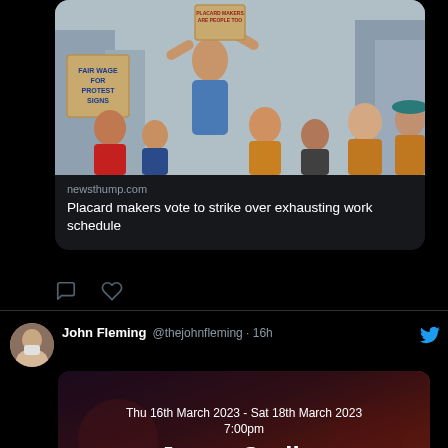[Figure (screenshot): Twitter/X screenshot showing a news card from newsthump.com with a protest image. Signs read 'PLACARD MAKERS ARE PEOPLE TOO' and 'FAIR WAGE FOR PROTEST SIGNS'. Headline: 'Placard makers vote to strike over exhausting work schedule']
newsthump.com
Placard makers vote to strike over exhausting work schedule
[Figure (screenshot): Twitter/X tweet by John Fleming @thejohnfleming · 16h with an event card showing: Thu 16th March 2023 - Sat 18th March 2023, 7:00pm, Janey Godley]